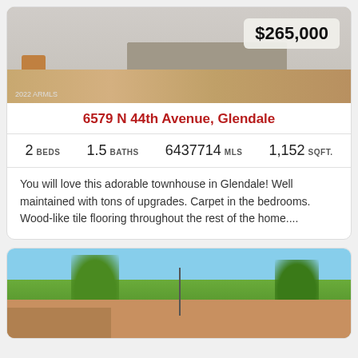[Figure (photo): Interior living room photo showing wood-like tile flooring, gray sectional sofa, white walls, with price badge $265,000 overlay and 2022 ARMLS watermark]
6579 N 44th Avenue, Glendale
2 BEDS   1.5 BATHS   6437714 MLS   1,152 SQFT.
You will love this adorable townhouse in Glendale! Well maintained with tons of upgrades. Carpet in the bedrooms. Wood-like tile flooring throughout the rest of the home....
[Figure (photo): Exterior photo of residential property with trees, blue sky, and front yard visible]